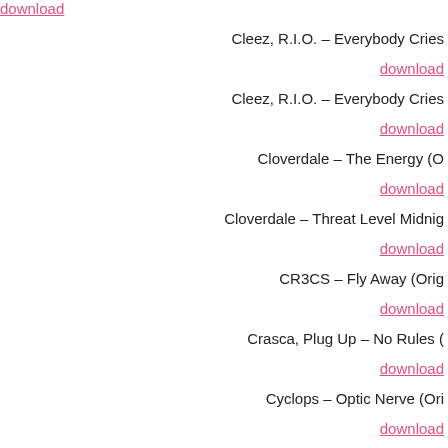download
Cleez, R.I.O. – Everybody Cries
download
Cleez, R.I.O. – Everybody Cries
download
Cloverdale – The Energy (O…
download
Cloverdale – Threat Level Midnig…
download
CR3CS – Fly Away (Orig…
download
Crasca, Plug Up – No Rules (…
download
Cyclops – Optic Nerve (Ori…
download
Cyclops – UV (Origina…
download
Cyclops, Rezi – Data Sequence…
download
D-Steal, Flamers – Flow (Ex…
download
Daniel Portman – Sensual Desires…
download